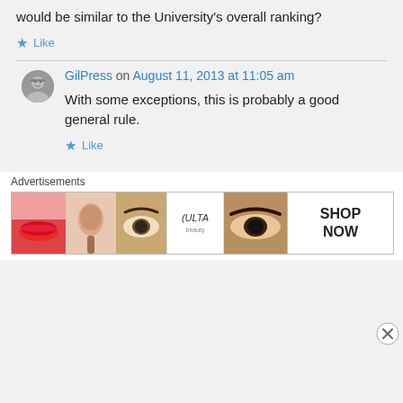would be similar to the University's overall ranking?
Like
GilPress on August 11, 2013 at 11:05 am
With some exceptions, this is probably a good general rule.
Like
Advertisements
[Figure (photo): ULTA beauty advertisement banner with makeup/beauty images and 'SHOP NOW' button]